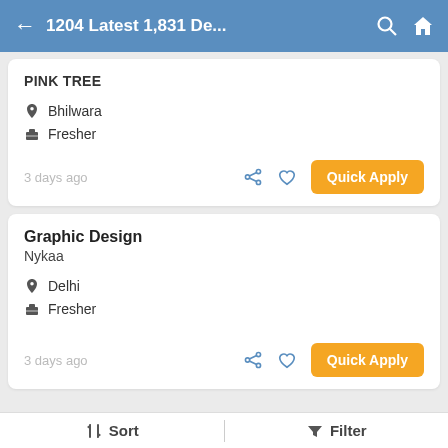1204 Latest 1,831 De...
PINK TREE
Bhilwara
Fresher
3 days ago
Quick Apply
Graphic Design
Nykaa
Delhi
Fresher
3 days ago
Quick Apply
Sort   Filter